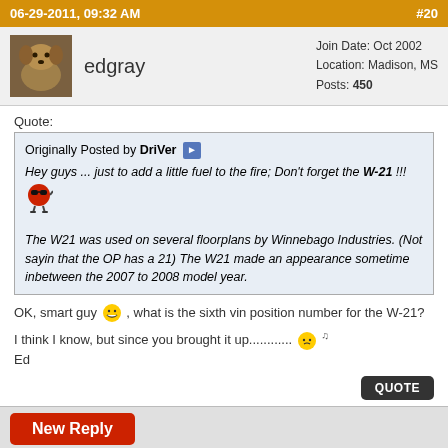06-29-2011, 09:32 AM   #20
edgray
Join Date: Oct 2002
Location: Madison, MS
Posts: 450
Quote:
Originally Posted by DriVer
Hey guys ... just to add a little fuel to the fire; Don't forget the W-21 !!!
The W21 was used on several floorplans by Winnebago Industries. (Not sayin that the OP has a 21) The W21 made an appearance sometime inbetween the 2007 to 2008 model year.
OK, smart guy, what is the sixth vin position number for the W-21?
I think I know, but since you brought it up............
Ed